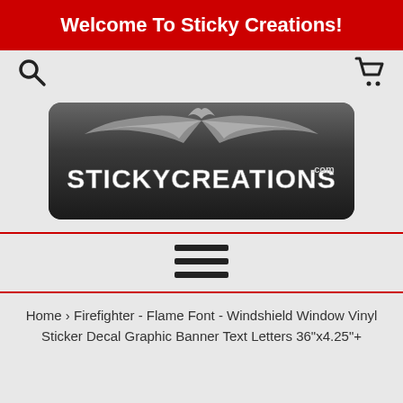Welcome To Sticky Creations!
[Figure (logo): Sticky Creations logo with decorative dark banner and wing-like ornamental design above the text STICKYCREATIONS.com]
Home › Firefighter - Flame Font - Windshield Window Vinyl Sticker Decal Graphic Banner Text Letters 36"x4.25"+